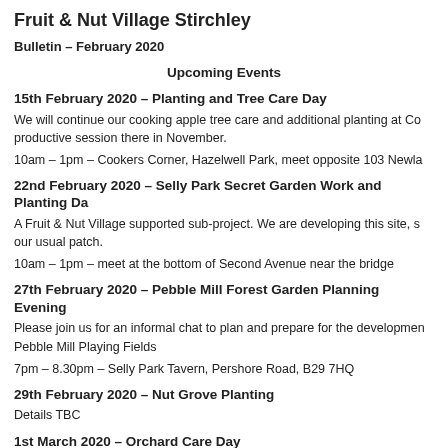Fruit & Nut Village Stirchley
Bulletin – February 2020
Upcoming Events
15th February 2020 – Planting and Tree Care Day
We will continue our cooking apple tree care and additional planting at Co productive session there in November.
10am – 1pm – Cookers Corner, Hazelwell Park, meet opposite 103 Newla
22nd February 2020 – Selly Park Secret Garden Work and Planting Da
A Fruit & Nut Village supported sub-project. We are developing this site, s our usual patch.
10am – 1pm – meet at the bottom of Second Avenue near the bridge
27th February 2020 – Pebble Mill Forest Garden Planning Evening
Please join us for an informal chat to plan and prepare for the developmen Pebble Mill Playing Fields
7pm – 8.30pm – Selly Park Tavern, Pershore Road, B29 7HQ
29th February 2020 – Nut Grove Planting
Details TBC
1st March 2020 – Orchard Care Day
We will join our project partners at the bottom...